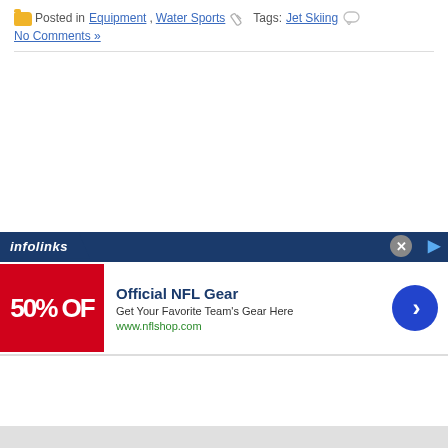Posted in Equipment, Water Sports  Tags: Jet Skiing  No Comments »
[Figure (screenshot): Infolinks ad bar with NFL gear advertisement showing '50% OFF' red banner, Official NFL Gear title, 'Get Your Favorite Team's Gear Here' subtitle, www.nflshop.com URL, and a blue arrow button]